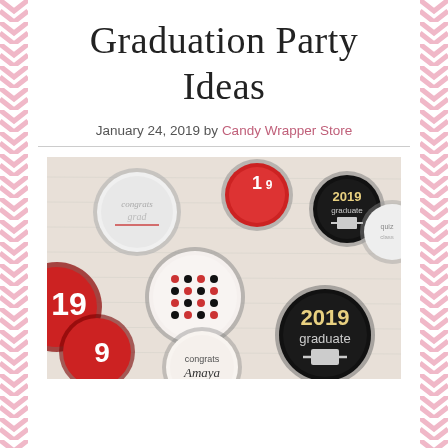Graduation Party Ideas
January 24, 2019 by Candy Wrapper Store
[Figure (photo): Multiple Hershey's Kiss graduation candy stickers with 2019 graduate designs in red, black, and white with custom names like 'congrats Amaya' on a light background]